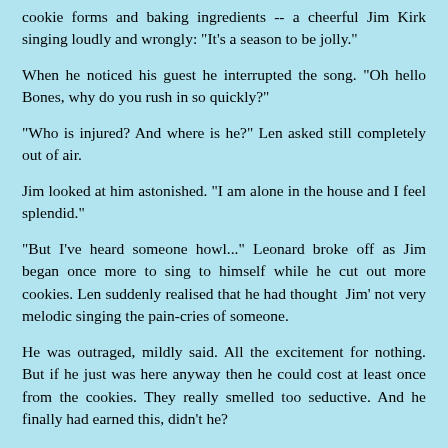cookie forms and baking ingredients -- a cheerful Jim Kirk singing loudly and wrongly: "It's a season to be jolly."
When he noticed his guest he interrupted the song. "Oh hello Bones, why do you rush in so quickly?"
"Who is injured? And where is he?" Len asked still completely out of air.
Jim looked at him astonished. "I am alone in the house and I feel splendid."
"But I've heard someone howl..." Leonard broke off as Jim began once more to sing to himself while he cut out more cookies. Len suddenly realised that he had thought  Jim' not very melodic singing the pain-cries of someone.
He was outraged, mildly said. All the excitement for nothing. But if he just was here anyway then he could cost at least once from the cookies. They really smelled too seductive. And he finally had earned this, didn't he?
“May I?” He didn't wait for Jim's nod and helped himself to some cookies. All hearts and stars as he noted. Now this form did well fit to Jim's not only at Christmas romantic soul